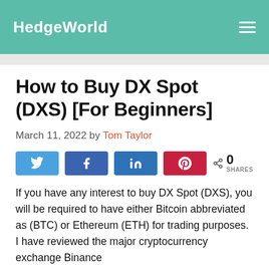HedgeWorld
How to Buy DX Spot (DXS) [For Beginners]
March 11, 2022 by Tom Taylor
[Figure (other): Social share buttons: Twitter, Facebook, LinkedIn, Pinterest, and a share count showing 0 SHARES]
If you have any interest to buy DX Spot (DXS), you will be required to have either Bitcoin abbreviated as (BTC) or Ethereum (ETH) for trading purposes. I have reviewed the major cryptocurrency exchange Binance